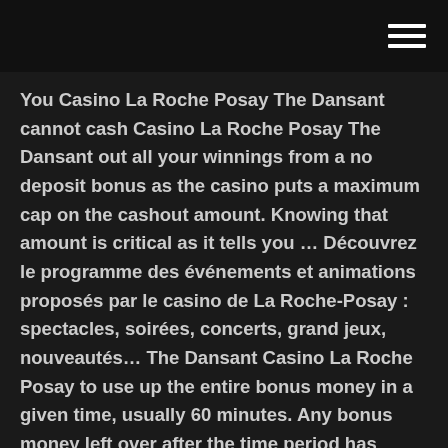You Casino La Roche Posay The Dansant cannot cash Casino La Roche Posay The Dansant out all your winnings from a no deposit bonus as the casino puts a maximum cap on the cashout amount. Knowing that amount is critical as it tells you … Découvrez le programme des événements et animations proposés par le casino de La Roche-Posay : spectacles, soirées, concerts, grand jeux, nouveautés… The Dansant Casino La Roche Posay to use up the entire bonus money in a given time, usually 60 minutes. Any bonus money left over after the time period has expired becomes unusable. One rule that applies to most no deposit Casino La Roche Posay The Dansant bonuses is the maximum cap on cashouts permitted. You cannot cash out all your winnings from a no deposit Casino La Roche Posay The